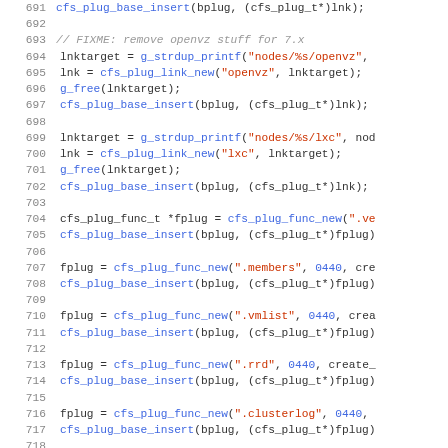[Figure (screenshot): Source code listing in C, lines 691-723, showing code that creates plugin links and function plugins for a cluster filesystem (CFS). Uses blue for function/variable names, red for string literals, and gray for line numbers and comments.]